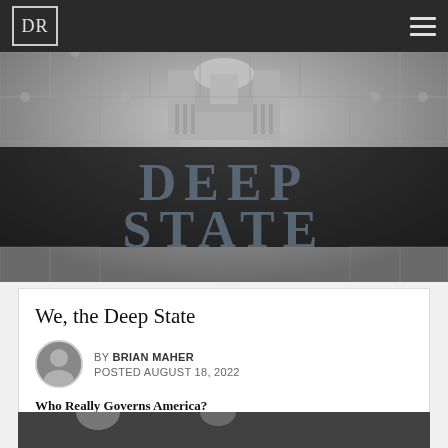DR
[Figure (photo): Jigsaw puzzle image with dark puzzle pieces spelling out 'DEEP STATE' over a faded background showing the US Capitol building dome.]
We, the Deep State
BY BRIAN MAHER
POSTED AUGUST 18, 2022
Who Really Governs America?
[Figure (photo): Partial view of another article image at the bottom of the page.]